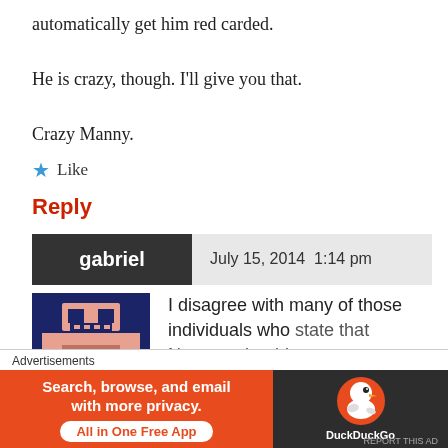automatically get him red carded.
He is crazy, though. I'll give you that.
Crazy Manny.
★ Like
Reply
gabriel    July 15, 2014  1:14 pm
I disagree with many of those individuals who state that Neymar should
[Figure (illustration): Pixel art avatar for user gabriel, blue and pink colored blocky figure]
Advertisements
[Figure (screenshot): DuckDuckGo advertisement banner: Search, browse, and email with more privacy. All in One Free App]